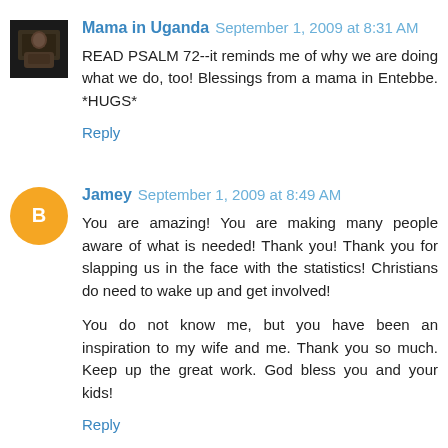[Figure (photo): Small avatar photo of Mama in Uganda commenter - dark toned image]
Mama in Uganda September 1, 2009 at 8:31 AM
READ PSALM 72--it reminds me of why we are doing what we do, too! Blessings from a mama in Entebbe. *HUGS*
Reply
[Figure (logo): Orange circle Blogger avatar icon with white B letter]
Jamey September 1, 2009 at 8:49 AM
You are amazing! You are making many people aware of what is needed! Thank you! Thank you for slapping us in the face with the statistics! Christians do need to wake up and get involved!
You do not know me, but you have been an inspiration to my wife and me. Thank you so much. Keep up the great work. God bless you and your kids!
Reply
[Figure (photo): Small avatar photo of Andrea commenter - partially visible at bottom]
Andrea September 1, 2009 at 8:52 AM